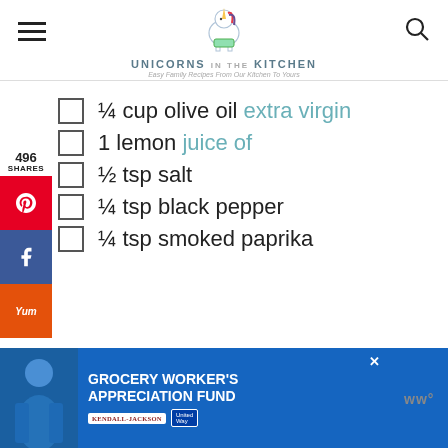Unicorns in the Kitchen - Easy Family Recipes From Our Kitchen To Yours
¼ cup olive oil extra virgin
1 lemon juice of
½ tsp salt
¼ tsp black pepper
¼ tsp smoked paprika
[Figure (other): Social share sidebar with 496 shares, Pinterest, Facebook, and Yummly buttons]
[Figure (other): Advertisement banner: Grocery Worker's Appreciation Fund with Kendall-Jackson and United Way logos]